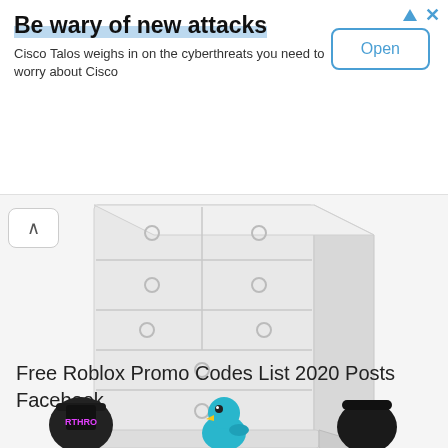[Figure (screenshot): Advertisement banner: 'Be wary of new attacks' - Cisco Talos cyberthreats ad with Open button]
[Figure (illustration): Roblox white dresser/chest of drawers 3D item render cropped]
Free Roblox Promo Codes List 2020 Posts Facebook
[Figure (illustration): Bottom row of Roblox item thumbnails: backpack, blue bird, black bag/accessory partially visible]